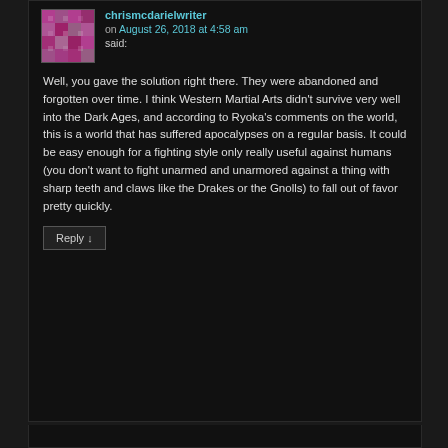chrismcdarielwriter on August 26, 2018 at 4:58 am said:
Well, you gave the solution right there. They were abandoned and forgotten over time. I think Western Martial Arts didn't survive very well into the Dark Ages, and according to Ryoka's comments on the world, this is a world that has suffered apocalypses on a regular basis. It could be easy enough for a fighting style only really useful against humans (you don't want to fight unarmed and unarmored against a thing with sharp teeth and claws like the Drakes or the Gnolls) to fall out of favor pretty quickly.
Reply ↓